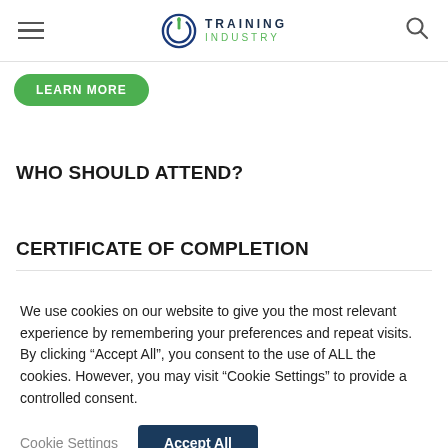Training Industry
[Figure (logo): Training Industry logo with circular power-button icon and text TRAINING INDUSTRY]
WHO SHOULD ATTEND?
CERTIFICATE OF COMPLETION
We use cookies on our website to give you the most relevant experience by remembering your preferences and repeat visits. By clicking “Accept All”, you consent to the use of ALL the cookies. However, you may visit “Cookie Settings” to provide a controlled consent.